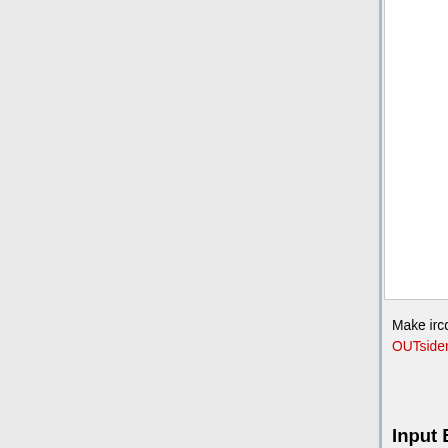1:15 broadway.ny.us.dal.net [RAW=255] I have '''2492''' clients and '''0''' servers
1:15 broadway.ny.us.dal.net [RAW=265] Current local users: '''2492'''  Max: '''2868'''
1:15 broadway.ny.us.dal.net [RAW=266] Current global users: '''38649'''  Max: '''44966'''
Make ircd specific raw handlers, not all networks use the same raw's since they are not general. --OUTsider 15:44, 6 September 2008 (UTC)
Input Bar & Options